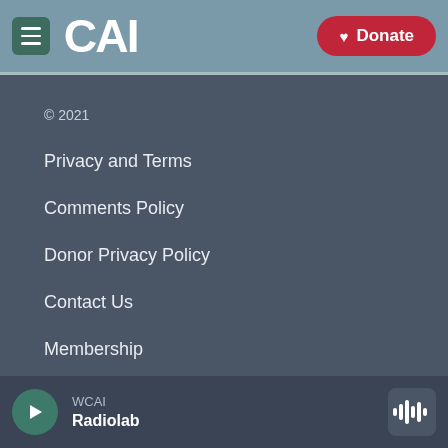WCAI logo, menu button, Donate button
© 2021
Privacy and Terms
Comments Policy
Donor Privacy Policy
Contact Us
Membership
Reports and Filings
WCAI  Radiolab  (player bar with play button and waveform icon)